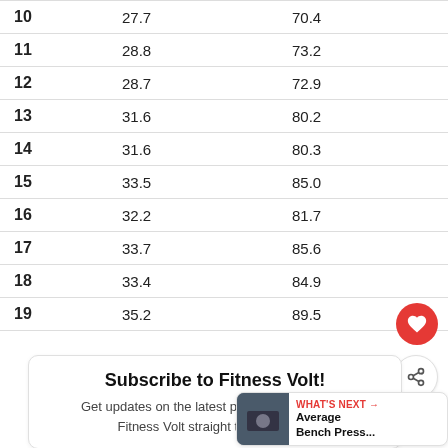| # | Value1 | Value2 |
| --- | --- | --- |
| 10 | 27.7 | 70.4 |
| 11 | 28.8 | 73.2 |
| 12 | 28.7 | 72.9 |
| 13 | 31.6 | 80.2 |
| 14 | 31.6 | 80.3 |
| 15 | 33.5 | 85.0 |
| 16 | 32.2 | 81.7 |
| 17 | 33.7 | 85.6 |
| 18 | 33.4 | 84.9 |
| 19 | 35.2 | 89.5 |
Subscribe to Fitness Volt!
Get updates on the latest posts and more from Fitness Volt straight to your inbox.